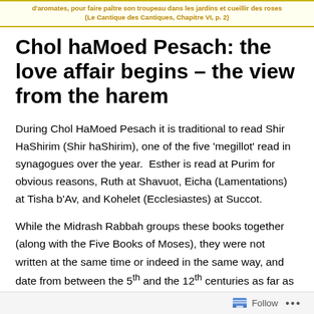d'aromates, pour faire paître son troupeau dans les jardins et cueillir des roses (Le Cantique des Cantiques, Chapitre VI, p. 2)
Chol haMoed Pesach: the love affair begins – the view from the harem
During Chol HaMoed Pesach it is traditional to read Shir HaShirim (Shir haShirim), one of the five 'megillot' read in synagogues over the year.  Esther is read at Purim for obvious reasons, Ruth at Shavuot, Eicha (Lamentations) at Tisha b'Av, and Kohelet (Ecclesiastes) at Succot.
While the Midrash Rabbah groups these books together (along with the Five Books of Moses), they were not written at the same time or indeed in the same way, and date from between the 5th and the 12th centuries as far as
Follow